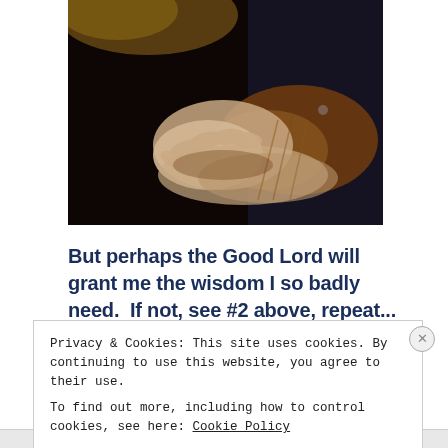[Figure (photo): Close-up detail of the Mona Lisa painting showing her hands folded, dark background with brown and gold tones of fabric sleeves]
But perhaps the Good Lord will grant me the wisdom I so badly need.  If not, see #2 above, repeat...
Privacy & Cookies: This site uses cookies. By continuing to use this website, you agree to their use.
To find out more, including how to control cookies, see here: Cookie Policy
Close and accept